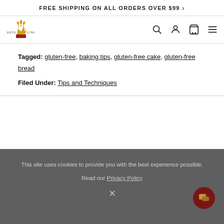FREE SHIPPING ON ALL ORDERS OVER $99 >
[Figure (logo): Bakery brand logo with crown/wheat icon, Est'd 1750]
Tagged: gluten-free, baking tips, gluten-free cake, gluten-free bread
Filed Under: Tips and Techniques
This site uses cookies to provide you with the best experience possible. Read our Privacy Policy  X